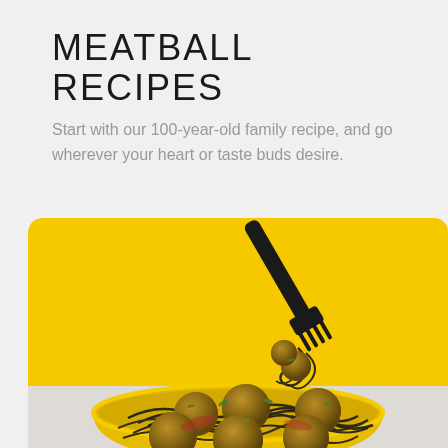MEATBALL RECIPES
Start with our 100-year-old family recipe, and go wherever your heart or taste buds desire.
[Figure (photo): A yellow bowl filled with dark (squid ink) spaghetti and meatballs with tomato sauce and fresh herbs, with a black fork lifting a portion of the pasta and meatballs above the bowl, set against a bright yellow background.]